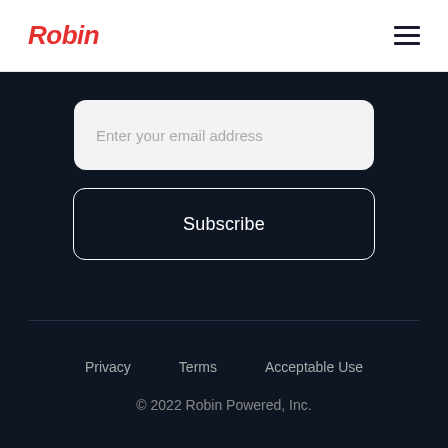Robin
[Figure (other): Email subscription input field with placeholder text 'Enter your email address']
Subscribe
Privacy   Terms   Acceptable Use
© 2022 Robin Powered, Inc.